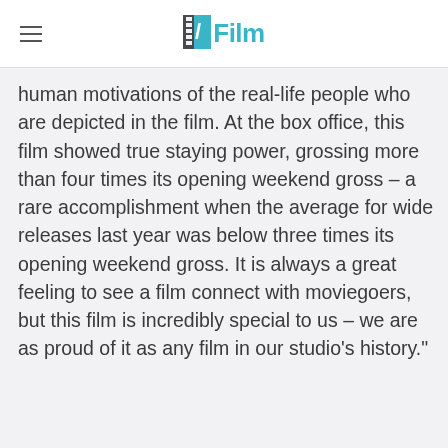/Film
human motivations of the real-life people who are depicted in the film. At the box office, this film showed true staying power, grossing more than four times its opening weekend gross – a rare accomplishment when the average for wide releases last year was below three times its opening weekend gross. It is always a great feeling to see a film connect with moviegoers, but this film is incredibly special to us – we are as proud of it as any film in our studio's history."